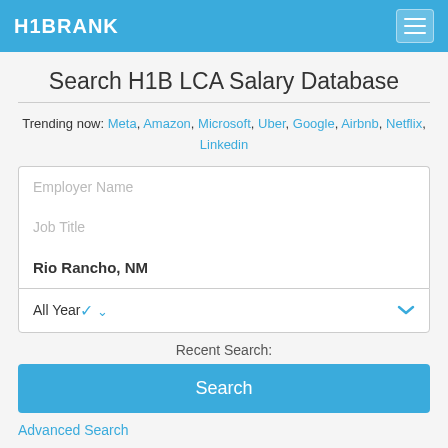H1BRANK
Search H1B LCA Salary Database
Trending now: Meta, Amazon, Microsoft, Uber, Google, Airbnb, Netflix, Linkedin
Employer Name
Job Title
Rio Rancho, NM
All Year
Recent Search:
Search
Advanced Search